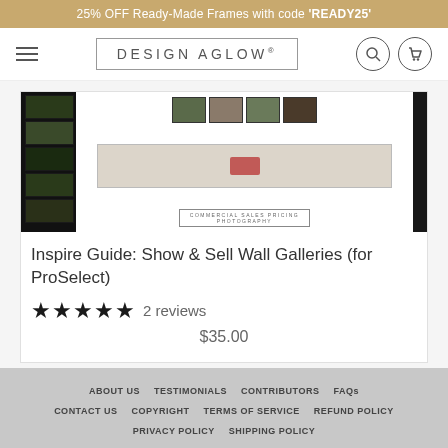25% OFF Ready-Made Frames with code 'READY25'
[Figure (screenshot): Design Aglow website navigation bar with hamburger menu, logo, search and cart icons]
[Figure (screenshot): Product image showing Inspire Guide: Show & Sell Wall Galleries for ProSelect — dark interface with photo thumbnails and wall gallery display]
Inspire Guide: Show & Sell Wall Galleries (for ProSelect)
★★★★★ 2 reviews
$35.00
ABOUT US   TESTIMONIALS   CONTRIBUTORS   FAQs   CONTACT US   COPYRIGHT   TERMS OF SERVICE   REFUND POLICY   PRIVACY POLICY   SHIPPING POLICY